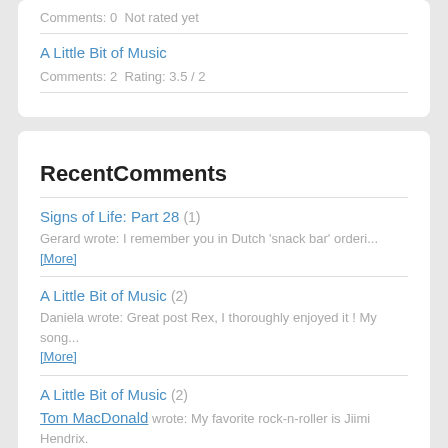Comments: 0  Not rated yet
A Little Bit of Music
Comments: 2  Rating: 3.5 / 2
RecentComments
Signs of Life: Part 28 (1)
Gerard wrote: I remember you in Dutch 'snack bar' orderi... [More]
A Little Bit of Music (2)
Daniela wrote: Great post Rex, I thoroughly enjoyed it ! My song... [More]
A Little Bit of Music (2)
Tom MacDonald wrote: My favorite rock-n-roller is Jiimi Hendrix. He ch... [More]
Signs of Life: Part 23 (1)